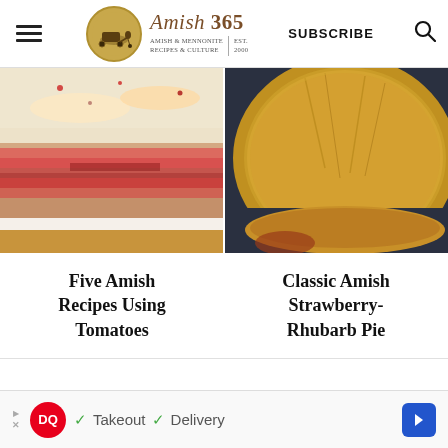Amish 365 — AMISH & MENNONITE RECIPES & CULTURE | EST. 2000 | SUBSCRIBE
[Figure (photo): Close-up of a layered tomato dish with melted cheese and red tomato slices on a crust]
[Figure (photo): Top-down view of a golden-brown baked pie with scored crust top on a dark surface]
Five Amish Recipes Using Tomatoes
Classic Amish Strawberry-Rhubarb Pie
[Figure (other): Dairy Queen advertisement banner: DQ logo with checkmarks for Takeout and Delivery, and a blue arrow navigation button]